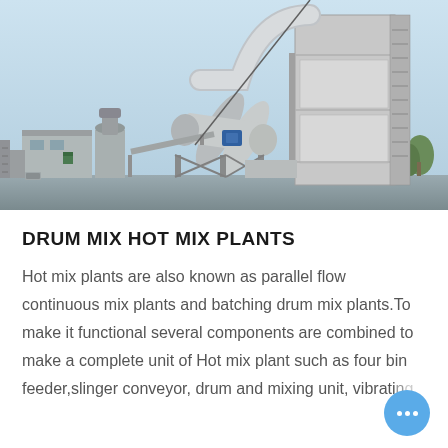[Figure (photo): Industrial drum mix hot mix plant / asphalt batching plant facility showing large tower structure with staircases, cylindrical drum mixer, ductwork, and auxiliary equipment against a light blue sky background.]
DRUM MIX HOT MIX PLANTS
Hot mix plants are also known as parallel flow continuous mix plants and batching drum mix plants.To make it functional several components are combined to make a complete unit of Hot mix plant such as four bin feeder,slinger conveyor, drum and mixing unit, vibrati...